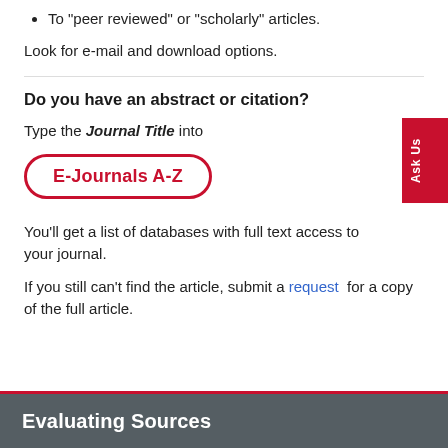To "peer reviewed" or "scholarly" articles.
Look for e-mail and download options.
Do you have an abstract or citation?
Type the Journal Title into
E-Journals A-Z
You'll get a list of databases with full text access to your journal.
If you still can't find the article, submit a request for a copy of the full article.
Evaluating Sources